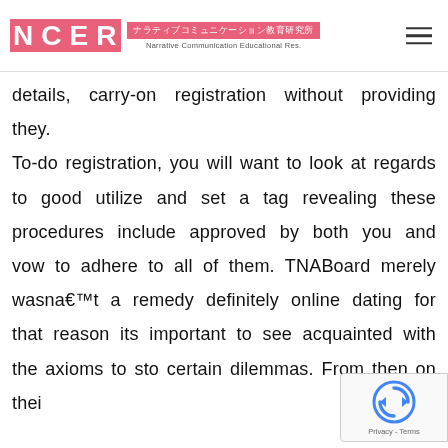NCER ナラティブコミュニケーション教育研究所 Narrative Communication Educational Res.
details, carry-on registration without providing they.
To-do registration, you will want to look at regards to good utilize and set a tag revealing these procedures include approved by both you and vow to adhere to all of them. TNABoard merely wasna€™t a remedy definitely online dating for that reason its important to see acquainted with the axioms to sto certain dilemmas. From then on thei
[Figure (logo): reCAPTCHA badge with Privacy and Terms links]